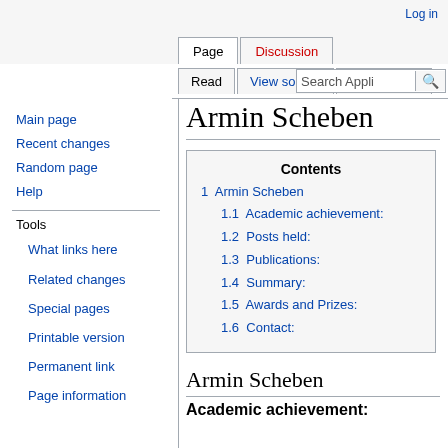Log in
Page | Discussion
Read | View source | View history | Search Appli...
Armin Scheben
| Contents |
| --- |
| 1  Armin Scheben |
| 1.1  Academic achievement: |
| 1.2  Posts held: |
| 1.3  Publications: |
| 1.4  Summary: |
| 1.5  Awards and Prizes: |
| 1.6  Contact: |
Armin Scheben
Academic achievement:
Main page
Recent changes
Random page
Help
What links here
Related changes
Special pages
Printable version
Permanent link
Page information